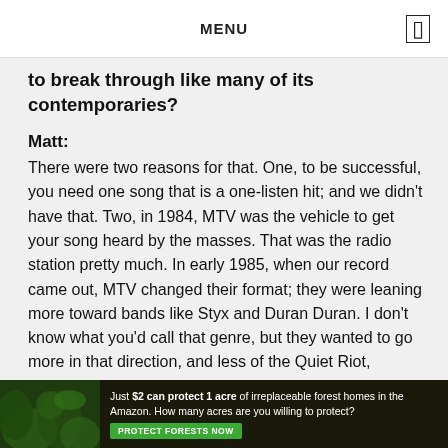MENU
to break through like many of its contemporaries?
Matt:
There were two reasons for that. One, to be successful, you need one song that is a one-listen hit; and we didn't have that. Two, in 1984, MTV was the vehicle to get your song heard by the masses. That was the radio station pretty much. In early 1985, when our record came out, MTV changed their format; they were leaning more toward bands like Styx and Duran Duran. I don't know what you'd call that genre, but they wanted to go more in that direction, and less of the Quiet Riot, Queensryche, Metal/Pop Metal bands. So, their new policy was no more new debut bands that are of this genre. They weren't gonna play them. So, we didn't get any airplay or any MTV viewership during that time because they just weren't
[Figure (infographic): Green forest advertisement banner: 'Just $2 can protect 1 acre of irreplaceable forest homes in the Amazon. How many acres are you willing to protect?' with a green 'PROTECT FORESTS NOW' button]